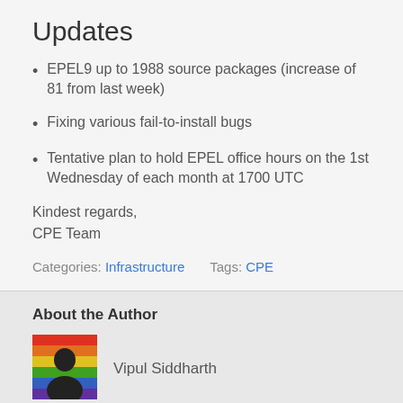Updates
EPEL9 up to 1988 source packages (increase of 81 from last week)
Fixing various fail-to-install bugs
Tentative plan to hold EPEL office hours on the 1st Wednesday of each month at 1700 UTC
Kindest regards,
CPE Team
Categories: Infrastructure    Tags: CPE
About the Author
Vipul Siddharth